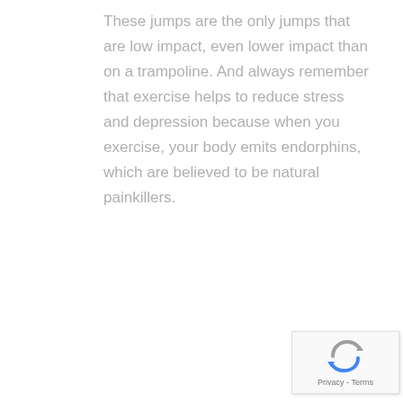These jumps are the only jumps that are low impact, even lower impact than on a trampoline. And always remember that exercise helps to reduce stress and depression because when you exercise, your body emits endorphins, which are believed to be natural painkillers.
[Figure (other): reCAPTCHA widget with blue/grey icon and 'Privacy - Terms' text]